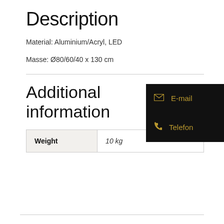Description
Material: Aluminium/Acryl, LED
Masse: Ø80/60/40 x 130 cm
Additional information
| Weight |  |
| --- | --- |
| Weight | 10 kg |